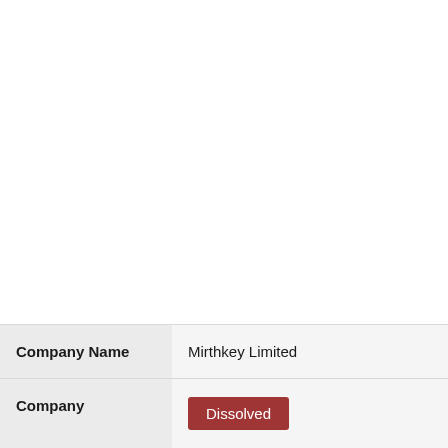| Field | Value |
| --- | --- |
| Company Name | Mirthkey Limited |
| Company Status | Dissolved |